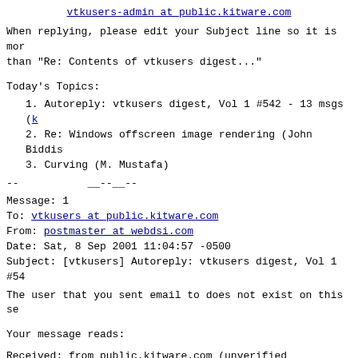vtkusers-admin at public.kitware.com
When replying, please edit your Subject line so it is mor than "Re: Contents of vtkusers digest..."
Today's Topics:
1. Autoreply: vtkusers digest, Vol 1 #542 - 13 msgs (k
2. Re: Windows offscreen image rendering (John Biddis
3. Curving (M. Mustafa)
--          __--__--
Message: 1
To: vtkusers at public.kitware.com
From: postmaster at webdsi.com
Date: Sat, 8 Sep 2001 11:04:57 -0500
Subject: [vtkusers] Autoreply: vtkusers digest, Vol 1 #54
The user that you sent email to does not exist on this se
Your message reads:
Received: from public.kitware.com (unverified [208.136.18 (Rockliffe SMTPRA 4.5.4) with ESMTP id <B0019291318 at r Sat, 8 Sep 2001 11:04:57 -0500
Received: from public.kitware.com (localhost.kitware.com      by public.kitware.com (8.11.6/8.11.6) with ESMTP